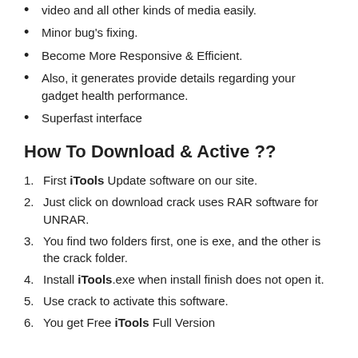video and all other kinds of media easily.
Minor bug's fixing.
Become More Responsive & Efficient.
Also, it generates provide details regarding your gadget health performance.
Superfast interface
How To Download & Active ??
First iTools Update software on our site.
Just click on download crack uses RAR software for UNRAR.
You find two folders first, one is exe, and the other is the crack folder.
Install iTools.exe when install finish does not open it.
Use crack to activate this software.
You get Free iTools Full Version